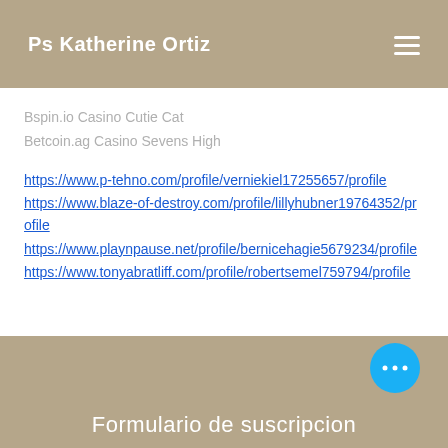Ps Katherine Ortiz
Bspin.io Casino Cutie Cat
Betcoin.ag Casino Sevens High
https://www.p-tehno.com/profile/verniekiel17255657/profile
https://www.blaze-of-destroy.com/profile/lillyhubner19764352/profile
https://www.playnpause.net/profile/bernicehagie5679234/profile
https://www.tonyabratliff.com/profile/robertsemel759794/profile
Formulario de suscripcion